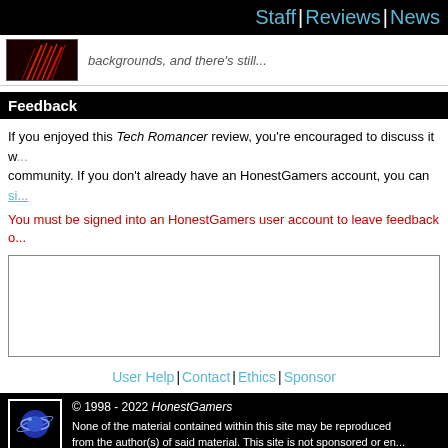Staff | Reviews | News
[Figure (photo): Thumbnail image with dark red spiky visual, partial text 'backgrounds, and there's still...']
Feedback
If you enjoyed this Tech Romancer review, you're encouraged to discuss it with the community. If you don't already have an HonestGamers account, you can sig...
You must be signed into an HonestGamers user account to leave feedback o...
[Figure (screenshot): Empty text input area / textarea box]
User Help | Contact | Ethics | Sponsor
© 1998 - 2022 HonestGamers None of the material contained within this site may be reproduced from the author(s) of said material. This site is not sponsored or en... any other such party. Tech Romancer is a registered trademark of... Tech Romancer, its characters, screenshots, artwork, music, or a... expressed on this site do not necessarily represent the opinion of s... reviews are typically written based on time spent with a retail... provided by its publisher.